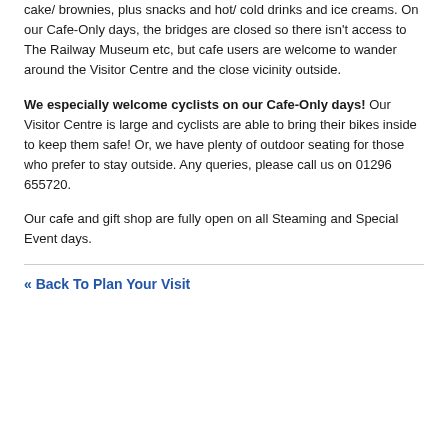cake/ brownies, plus snacks and hot/ cold drinks and ice creams. On our Cafe-Only days, the bridges are closed so there isn't access to The Railway Museum etc, but cafe users are welcome to wander around the Visitor Centre and the close vicinity outside.
We especially welcome cyclists on our Cafe-Only days! Our Visitor Centre is large and cyclists are able to bring their bikes inside to keep them safe! Or, we have plenty of outdoor seating for those who prefer to stay outside. Any queries, please call us on 01296 655720.
Our cafe and gift shop are fully open on all Steaming and Special Event days.
« Back To Plan Your Visit